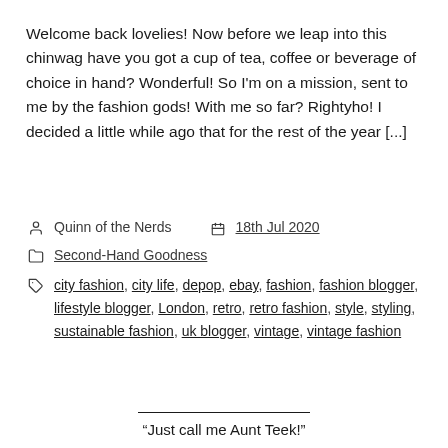Welcome back lovelies! Now before we leap into this chinwag have you got a cup of tea, coffee or beverage of choice in hand? Wonderful! So I'm on a mission, sent to me by the fashion gods! With me so far? Rightyho! I decided a little while ago that for the rest of the year [...]
Quinn of the Nerds   18th Jul 2020
Second-Hand Goodness
city fashion, city life, depop, ebay, fashion, fashion blogger, lifestyle blogger, London, retro, retro fashion, style, styling, sustainable fashion, uk blogger, vintage, vintage fashion
"Just call me Aunt Teek!"